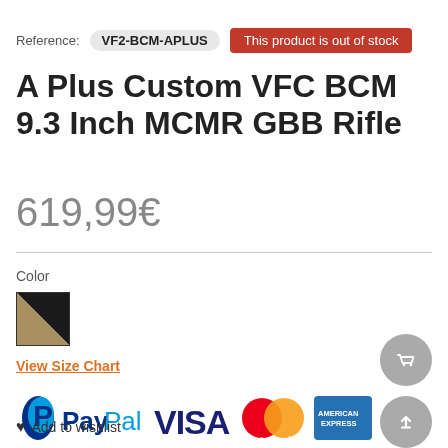Reference: VF2-BCM-APLUS | This product is out of stock
A Plus Custom VFC BCM 9.3 Inch MCMR GBB Rifle
619,99€
Color
[Figure (other): Color swatch showing black and tan/khaki split color]
View Size Chart
[Figure (logo): Payment method logos: PayPal, VISA, MasterCard, American Express]
Add to wishlist